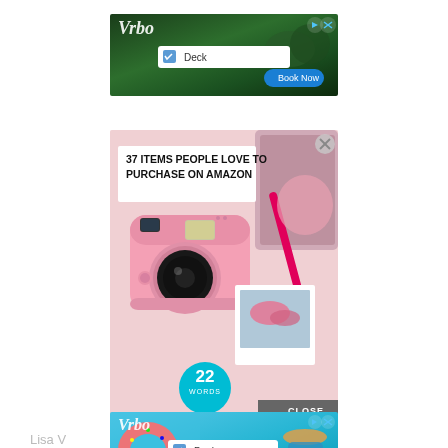[Figure (screenshot): Vrbo advertisement banner at top with 'Deck' search pill and 'Book Now' button, dark green forest background]
[Figure (screenshot): Advertisement overlay showing '37 ITEMS PEOPLE LOVE TO PURCHASE ON AMAZON' with pink Fujifilm Instax Mini camera, pink pen, polaroid photo, and '22 WORDS' badge with CLOSE button]
[Figure (screenshot): Second Vrbo advertisement banner at bottom with pool/donut float image, 'Pool' search pill and 'Book Now' button]
Lisa V
Lisa is